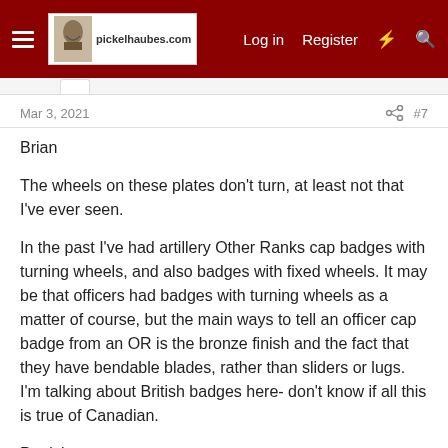pickelhaubes.com — Log in  Register
Mar 3, 2021
#7
Brian

The wheels on these plates don't turn, at least not that I've ever seen.

In the past I've had artillery Other Ranks cap badges with turning wheels, and also badges with fixed wheels. It may be that officers had badges with turning wheels as a matter of course, but the main ways to tell an officer cap badge from an OR is the bronze finish and the fact that they have bendable blades, rather than sliders or lugs. I'm talking about British badges here- don't know if all this is true of Canadian.

Patrick
Winston1